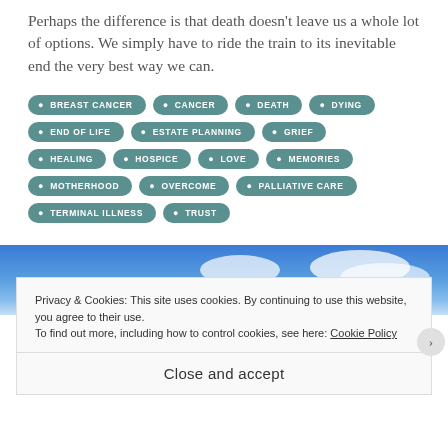Perhaps the difference is that death doesn't leave us a whole lot of options.  We simply have to ride the train to its inevitable end the very best way we can.
BREAST CANCER
CANCER
DEATH
DYING
END OF LIFE
ESTATE PLANNING
GRIEF
HEALING
HOSPICE
LOVE
MEMORIES
MOTHERHOOD
OVERCOME
PALLIATIVE CARE
TERMINAL ILLNESS
TRUST
[Figure (photo): Blue sky with white clouds]
Privacy & Cookies: This site uses cookies. By continuing to use this website, you agree to their use.
To find out more, including how to control cookies, see here: Cookie Policy
Close and accept